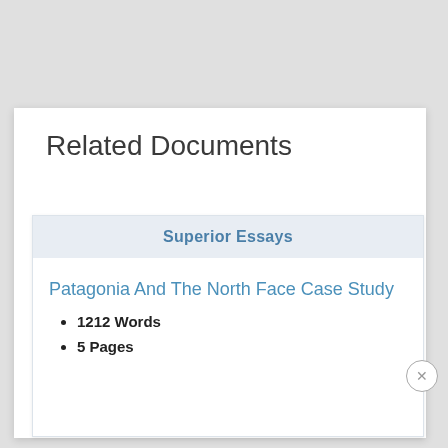Related Documents
Superior Essays
Patagonia And The North Face Case Study
1212 Words
5 Pages